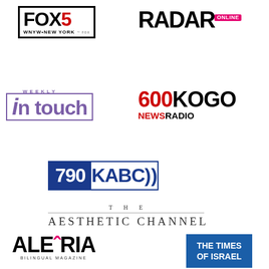[Figure (logo): FOX 5 WNYW New York television station logo]
[Figure (logo): Radar Online news website logo]
[Figure (logo): In Touch Weekly magazine logo in purple]
[Figure (logo): 600 KOGO News Radio logo]
[Figure (logo): 790 KABC radio station logo]
[Figure (logo): The Aesthetic Channel logo]
[Figure (logo): Alegria Bilingual Magazine logo]
[Figure (logo): The Times of Israel logo]